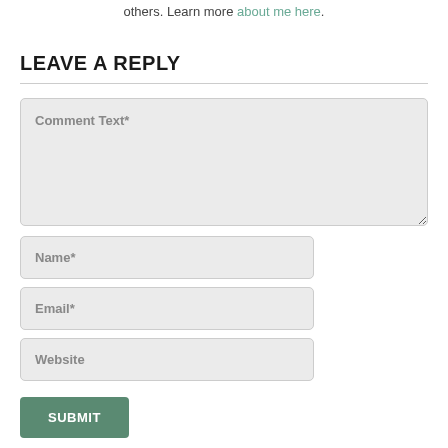others. Learn more about me here.
LEAVE A REPLY
Comment Text*
Name*
Email*
Website
SUBMIT